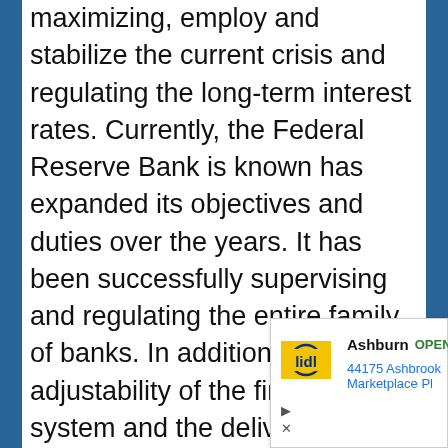maximizing, employ and stabilize the current crisis and regulating the long-term interest rates. Currently, the Federal Reserve Bank is known has expanded its objectives and duties over the years. It has been successfully supervising and regulating the entire family of banks. In addition to that, adjustability of the financial system and the delivery of financial services to the depository institutions is a well-known mandate for The Federal Reserve bank. The Fed also
[Figure (other): Advertisement banner showing Lidl store information: Ashburn, OPEN 8AM-9PM, 44175 Ashbrook Marketplace Pl]